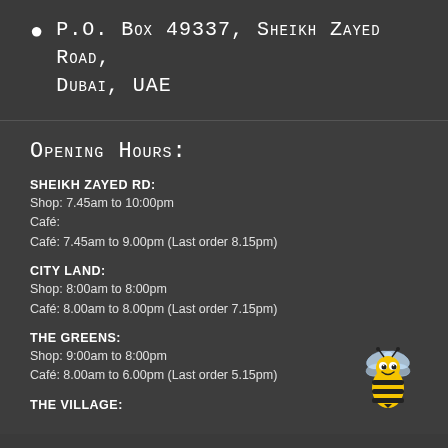P.O. Box 49337, Sheikh Zayed Road, Dubai, UAE
Opening Hours:
SHEIKH ZAYED RD:
Shop: 7.45am to 10:00pm
Café:
Café: 7.45am to 9.00pm (Last order 8.15pm)
CITY LAND:
Shop: 8:00am to 8:00pm
Café: 8.00am to 8.00pm (Last order 7.15pm)
THE GREENS:
Shop: 9:00am to 8:00pm
Café: 8.00am to 6.00pm (Last order 5.15pm)
[Figure (illustration): Cartoon bee illustration, yellow and black striped bee with wings and eyes]
THE VILLAGE: